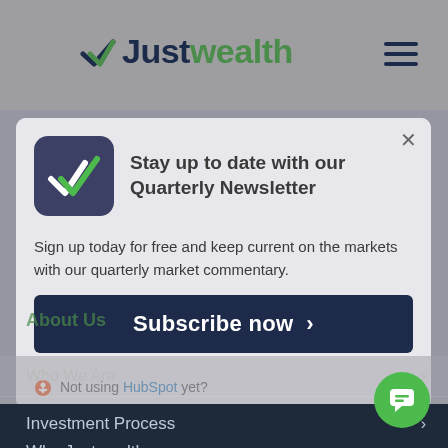[Figure (logo): Justwealth logo with checkmark and wordmark — 'Just' in dark navy, 'wealth' in green]
[Figure (screenshot): Hamburger menu icon (three horizontal lines) in dark navy]
Stay up to date with our Quarterly Newsletter
Sign up today for free and keep current on the markets with our quarterly market commentary.
Subscribe now
Not using HubSpot yet?
About Us
Who We Are
How It Works
Investment Process
Why Justwealth
Pricing